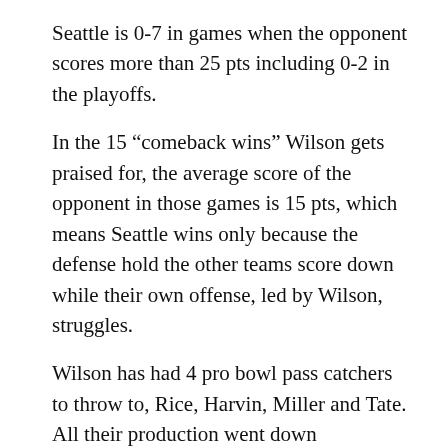Seattle is 0-7 in games when the opponent scores more than 25 pts including 0-2 in the playoffs.
In the 15 “comeback wins” Wilson gets praised for, the average score of the opponent in those games is 15 pts, which means Seattle wins only because the defense hold the other teams score down while their own offense, led by Wilson, struggles.
Wilson has had 4 pro bowl pass catchers to throw to, Rice, Harvin, Miller and Tate. All their production went down considerably when joining the seahawks.
Wilson has had 2 of the worst playoff performances by a qb ever, 2013 NO, 2014 GB, yet in the playoff games they have won he hasn’t been anything more than average.
Those are facts, you don’t pay a qb top dollar when his whole career has been defined by defense and the running game. Seattle knows this, that’s why they haven’t paid the man yet. They know it’s a system, and there are a lot of qb’s who can